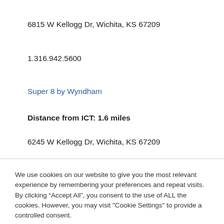6815 W Kellogg Dr, Wichita, KS 67209
1.316.942.5600
Super 8 by Wyndham
Distance from ICT: 1.6 miles
6245 W Kellogg Dr, Wichita, KS 67209
We use cookies on our website to give you the most relevant experience by remembering your preferences and repeat visits. By clicking “Accept All”, you consent to the use of ALL the cookies. However, you may visit "Cookie Settings" to provide a controlled consent.
Cookie Settings
Accept All